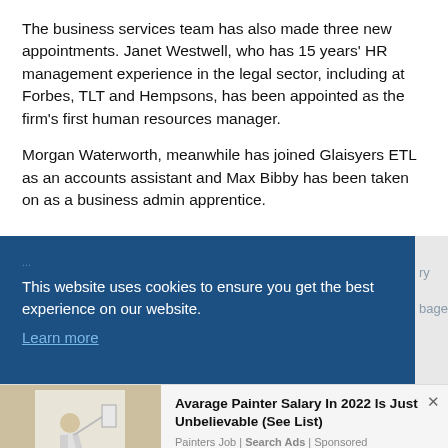The business services team has also made three new appointments. Janet Westwell, who has 15 years' HR management experience in the legal sector, including at Forbes, TLT and Hempsons, has been appointed as the firm's first human resources manager.
Morgan Waterworth, meanwhile has joined Glaisyers ETL as an accounts assistant and Max Bibby has been taken on as a business admin apprentice.
[Figure (screenshot): Cookie consent banner with dark blue background saying 'This website uses cookies to ensure you get the best experience on our website.' with a 'Learn more' link, partially overlaying page content. Below is an advertisement for 'Avarage Painter Salary In 2022 Is Just Unbelievable (See List)' by Painters Job | Search Ads | Sponsored.]